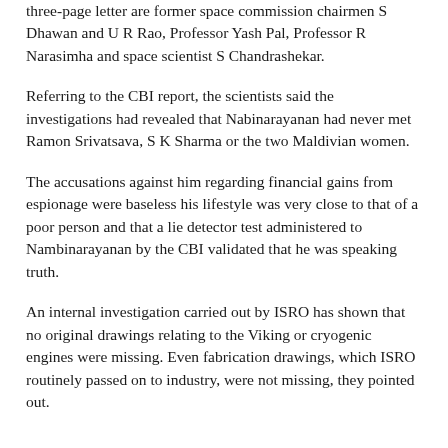three-page letter are former space commission chairmen S Dhawan and U R Rao, Professor Yash Pal, Professor R Narasimha and space scientist S Chandrashekar.
Referring to the CBI report, the scientists said the investigations had revealed that Nabinarayanan had never met Ramon Srivatsava, S K Sharma or the two Maldivian women.
The accusations against him regarding financial gains from espionage were baseless his lifestyle was very close to that of a poor person and that a lie detector test administered to Nambinarayanan by the CBI validated that he was speaking truth.
An internal investigation carried out by ISRO has shown that no original drawings relating to the Viking or cryogenic engines were missing. Even fabrication drawings, which ISRO routinely passed on to industry, were not missing, they pointed out.